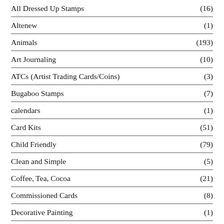All Dressed Up Stamps (16)
Altenew (1)
Animals (193)
Art Journaling (10)
ATCs (Artist Trading Cards/Coins) (3)
Bugaboo Stamps (7)
calendars (1)
Card Kits (51)
Child Friendly (79)
Clean and Simple (5)
Coffee, Tea, Cocoa (21)
Commissioned Cards (8)
Decorative Painting (1)